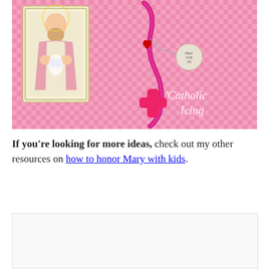[Figure (photo): Photo of a pink gingham background with a religious holy card showing Jesus and a pink fuzzy rosary with a pink cross and a red heart charm and a small round medal. White cursive watermark text reads 'Catholic Icing'.]
If you're looking for more ideas, check out my other resources on how to honor Mary with kids.